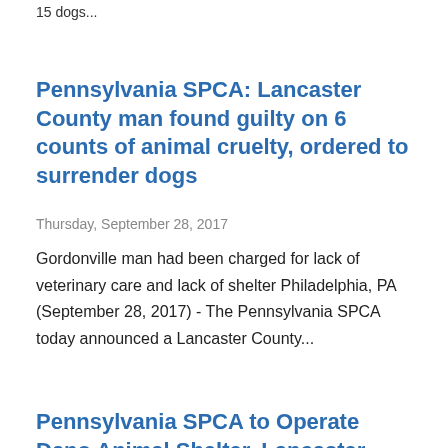15 dogs...
Pennsylvania SPCA: Lancaster County man found guilty on 6 counts of animal cruelty, ordered to surrender dogs
Thursday, September 28, 2017
Gordonville man had been charged for lack of veterinary care and lack of shelter Philadelphia, PA (September 28, 2017) - The Pennsylvania SPCA today announced a Lancaster County...
Pennsylvania SPCA to Operate Dano Animal Shelter, Lancaster